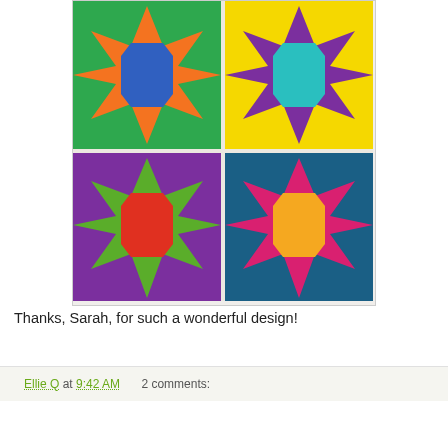[Figure (photo): Four colorful quilt blocks arranged in a 2x2 grid against a white wall. Top-left: green background with orange star and blue center. Top-right: yellow background with purple star and teal center. Bottom-left: purple background with green star and red/orange center. Bottom-right: teal/dark blue background with pink/magenta star and yellow/orange center.]
Thanks, Sarah, for such a wonderful design!
Ellie Q at 9:42 AM    2 comments: